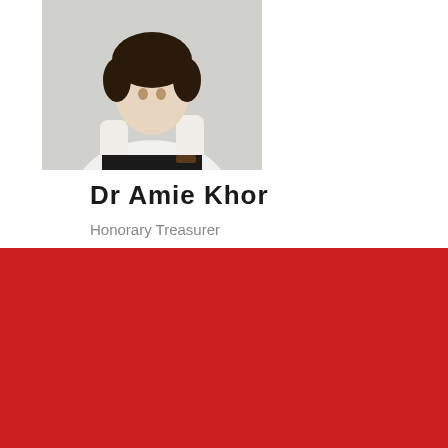[Figure (photo): Photo of Dr Amie Khor wearing white top, arms crossed, against light grey background]
Dr Amie Khor
Honorary Treasurer
EVENTS
[Figure (screenshot): Event flyer screenshot featuring a medical aesthetics topic about beautician handling injections, with English session information, speaker details, and a face photo]